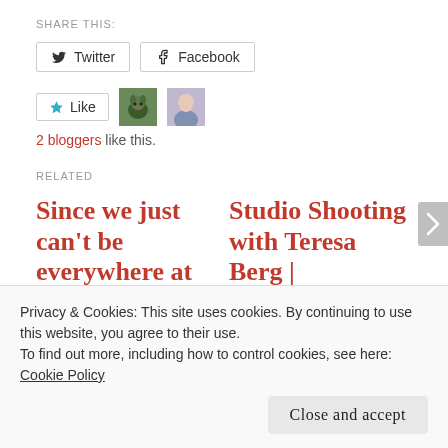SHARE THIS:
Twitter   Facebook
Like   [avatar: dog]   [avatar: person]
2 bloggers like this.
RELATED
Since we just can't be everywhere at once…
December 16, 2010
Studio Shooting with Teresa Berg | Unleashed pet
Privacy & Cookies: This site uses cookies. By continuing to use this website, you agree to their use.
To find out more, including how to control cookies, see here:
Cookie Policy
Close and accept